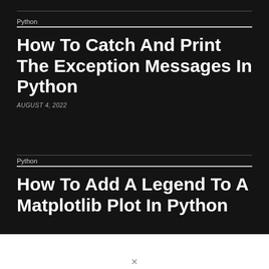Python
How To Catch And Print The Exception Messages In Python
AUGUST 4, 2022
Python
How To Add A Legend To A Matplotlib Plot In Python